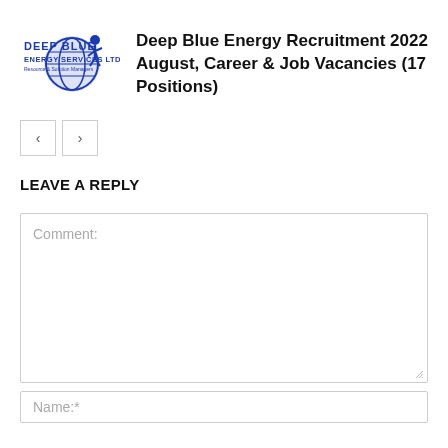[Figure (logo): Deep Blue Energy Services Ltd logo — blue text and globe graphic]
Deep Blue Energy Recruitment 2022 August, Career & Job Vacancies (17 Positions)
[Figure (other): Navigation previous/next buttons (left arrow and right arrow)]
LEAVE A REPLY
Comment:
Name:*